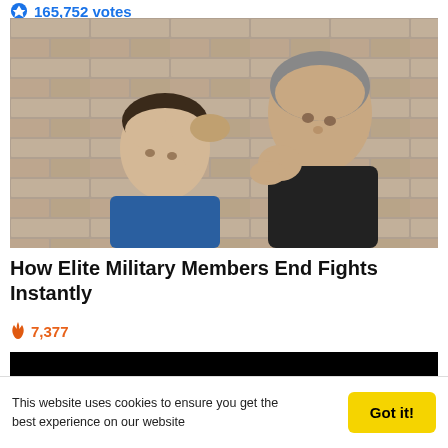165,752 votes
[Figure (photo): Two men in a martial arts / self-defense scene outdoors against a stone wall. An older grey-haired man in a black shirt appears to be blocking or striking a younger man in a blue t-shirt who is recoiling backward.]
How Elite Military Members End Fights Instantly
7,377
[Figure (screenshot): Black panel with three partially visible red circles at the bottom, appearing to be a video or image gallery widget.]
This website uses cookies to ensure you get the best experience on our website